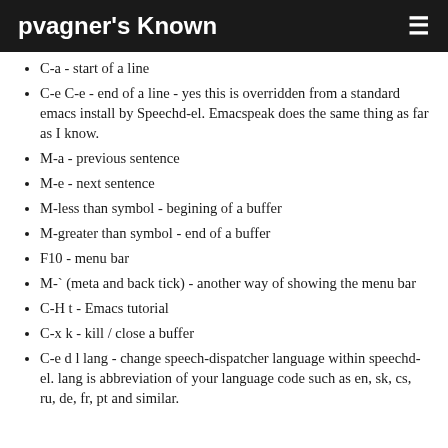pvagner's Known
C-a - start of a line
C-e C-e - end of a line - yes this is overridden from a standard emacs install by Speechd-el. Emacspeak does the same thing as far as I know.
M-a - previous sentence
M-e - next sentence
M-less than symbol - begining of a buffer
M-greater than symbol - end of a buffer
F10 - menu bar
M-` (meta and back tick) - another way of showing the menu bar
C-H t - Emacs tutorial
C-x k - kill / close a buffer
C-e d l lang - change speech-dispatcher language within speechd-el. lang is abbreviation of your language code such as en, sk, cs, ru, de, fr, pt and similar.